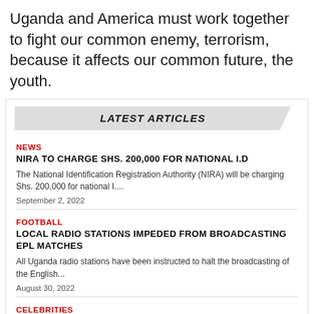Uganda and America must work together to fight our common enemy, terrorism, because it affects our common future, the youth.
LATEST ARTICLES
NEWS
NIRA TO CHARGE SHS. 200,000 FOR NATIONAL I.D
The National Identification Registration Authority (NIRA) will be charging Shs. 200,000 for national I....
September 2, 2022
FOOTBALL
LOCAL RADIO STATIONS IMPEDED FROM BROADCASTING EPL MATCHES
All Uganda radio stations have been instructed to halt the broadcasting of the English...
August 30, 2022
CELEBRITIES